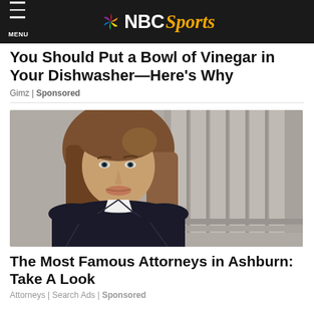NBC Sports
You Should Put a Bowl of Vinegar in Your Dishwasher—Here's Why
Gimz | Sponsored
[Figure (photo): A professional-looking woman with long brown hair posing in front of large stone columns, wearing a black blazer over a white top.]
The Most Famous Attorneys in Ashburn: Take A Look
Attorneys | Search Ads | Sponsored